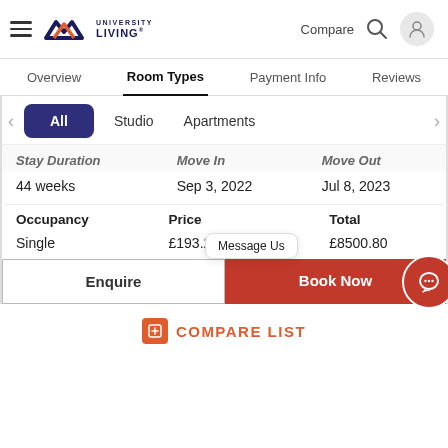[Figure (screenshot): University Living website header with hamburger menu, logo, Compare text, search icon, and user icon]
Overview  Room Types  Payment Info  Reviews
All  Studio  Apartments
| Stay Duration | Move In | Move Out |
| --- | --- | --- |
| 44 weeks | Sep 3, 2022 | Jul 8, 2023 |
| Occupancy | Price | Total |
| --- | --- | --- |
| Single | £193.2/week | £8500.80 |
Enquire
Message Us
Book Now
COMPARE LIST